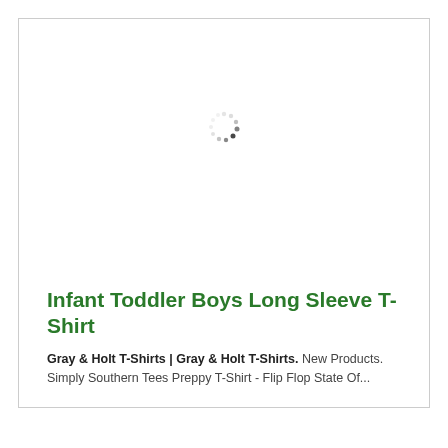[Figure (other): Loading spinner icon — small circular dots arrangement indicating content loading]
Infant Toddler Boys Long Sleeve T-Shirt
Gray & Holt T-Shirts | Gray & Holt T-Shirts. New Products. Simply Southern Tees Preppy T-Shirt - Flip Flop State Of...